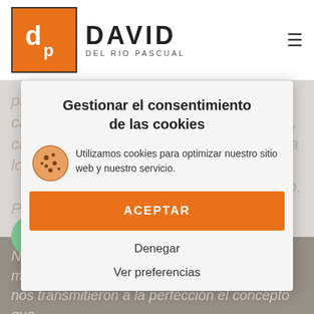[Figure (logo): David Del Rio Pascual logo with orange square icon and stylized text]
prenda que vestidos, camisetas, pantalones, chaquetas, cazadoras, blazers, tops... Sea lo que sea lo que busquen, las encontrarán en Di & Di Shop. Por si esto fuera poco, disponen de rápidos envíos gratuitos a partir de 50€ de compra.
Gestionar el consentimiento de las cookies
Utilizamos cookies para optimizar nuestro sitio web y nuestro servicio.
ACEPTAR
Denegar
Ver preferencias
Objetivo
Magdalena y Laura, propietarias de la peluquería Di & Dinos contactaron con nosotros la creación de una Tienda Online para su nueva línea de Negocio: Di & Di Shop. Desde el primer momento nos transmitieron a la perfección el concepto que